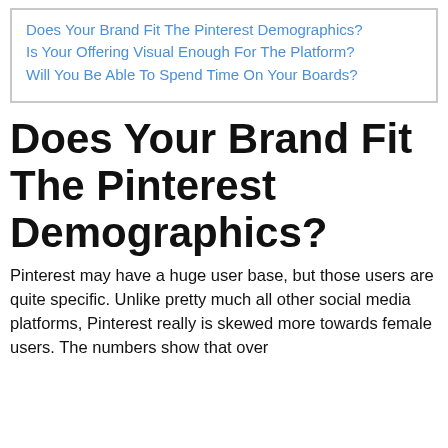Does Your Brand Fit The Pinterest Demographics?
Is Your Offering Visual Enough For The Platform?
Will You Be Able To Spend Time On Your Boards?
Does Your Brand Fit The Pinterest Demographics?
Pinterest may have a huge user base, but those users are quite specific. Unlike pretty much all other social media platforms, Pinterest really is skewed more towards female users. The numbers show that over